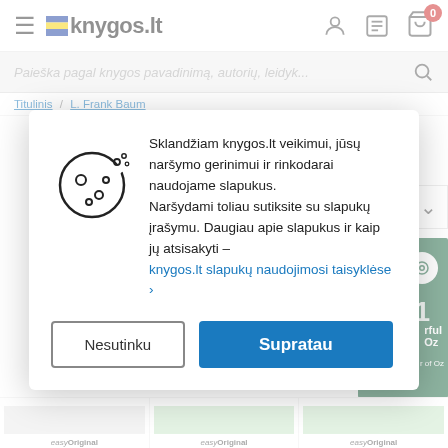knygos.lt
Paieška pagal knygos pavadinimą, autorių, leidyk...
Titulinis / L. Frank Baum
[Figure (illustration): Cookie consent modal popup with cookie icon, Lithuanian text about cookies, decline and accept buttons. Text: Sklandžiam knygos.lt veikimui, jūsų naršymo gerinimui ir rinkodarai naudojame slapukus. Naršydami toliau sutiksite su slapukų įrašymu. Daugiau apie slapukus ir kaip jų atsisakyti – knygos.lt slapukų naudojimosi taisyklėse. Buttons: Nesutinku, Supratau]
easyOriginal
easyOriginal
easyOriginal